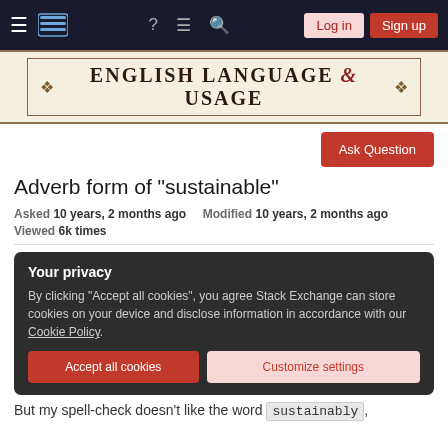English Language & Usage - Stack Exchange navigation bar with Log in and Sign up buttons
ENGLISH LANGUAGE & USAGE
Adverb form of "sustainable"
Asked 10 years, 2 months ago   Modified 10 years, 2 months ago   Viewed 6k times
Your privacy
By clicking "Accept all cookies", you agree Stack Exchange can store cookies on your device and disclose information in accordance with our Cookie Policy.
Accept all cookies   Customize settings
But my spell-check doesn't like the word sustainably,